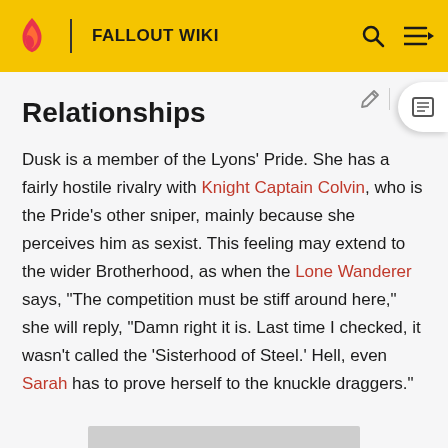FALLOUT WIKI
Relationships
Dusk is a member of the Lyons' Pride. She has a fairly hostile rivalry with Knight Captain Colvin, who is the Pride's other sniper, mainly because she perceives him as sexist. This feeling may extend to the wider Brotherhood, as when the Lone Wanderer says, "The competition must be stiff around here," she will reply, "Damn right it is. Last time I checked, it wasn't called the 'Sisterhood of Steel.' Hell, even Sarah has to prove herself to the knuckle draggers."